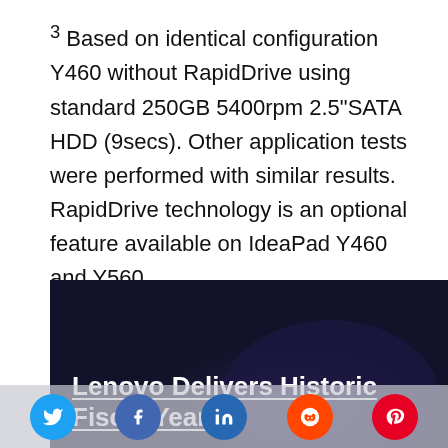3 Based on identical configuration Y460 without RapidDrive using standard 250GB 5400rpm 2.5"SATA HDD (9secs). Other application tests were performed with similar results. RapidDrive technology is an optional feature available on IdeaPad Y460 and Y560.
[Figure (photo): Dark banner image with text 'Lenovo Delivers Historic Fiscal Year' underlined in white bold font, on a dark navy/purple gradient background. Lenovo branding sidebar in blue on the right.]